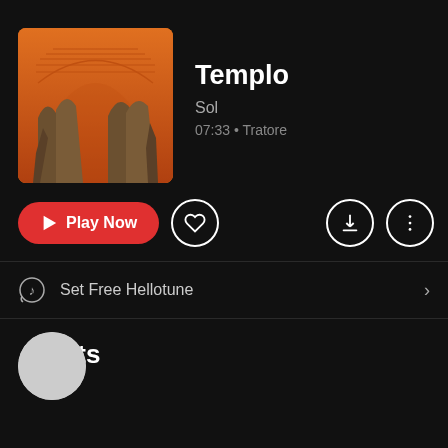[Figure (illustration): Album art for Templo by Sol - orange/amber background with stone arch formations silhouetted, horizontal lines forming a sun/arch motif at the top]
Templo
Sol
07:33 • Tratore
[Figure (infographic): Controls row: Play Now button (red rounded), heart icon circle, download icon circle, three-dot menu icon circle]
Set Free Hellotune
Artists
[Figure (photo): Partially visible artist avatar circle at bottom of page]